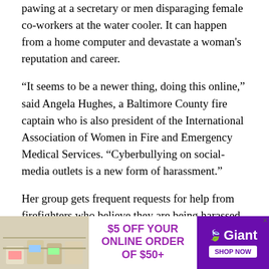pawing at a secretary or men disparaging female co-workers at the water cooler. It can happen from a home computer and devastate a woman's reputation and career.
“It seems to be a newer thing, doing this online,” said Angela Hughes, a Baltimore County fire captain who is also president of the International Association of Women in Fire and Emergency Medical Services. “Cyberbullying on social-media outlets is a new form of harassment.”
Her group gets frequent requests for help from firefighters who believe they are being harassed, threatened or mistreated because of their gender. But recently, the group has seen more online bullying, including some Facebook pages that actively harass
[Figure (infographic): Advertisement banner for Giant grocery store: '$5 OFF YOUR ONLINE ORDER OF $50+' with Giant logo and 'SHOP NOW' button, featuring grocery product image on left.]